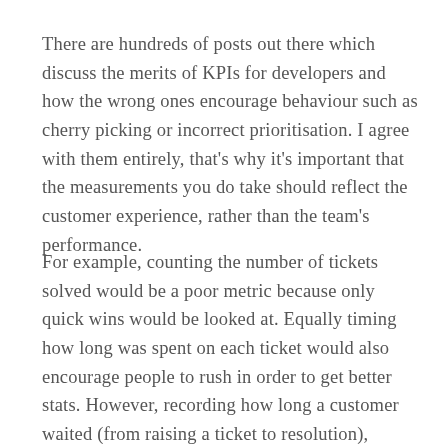There are hundreds of posts out there which discuss the merits of KPIs for developers and how the wrong ones encourage behaviour such as cherry picking or incorrect prioritisation. I agree with them entirely, that's why it's important that the measurements you do take should reflect the customer experience, rather than the team's performance.
For example, counting the number of tickets solved would be a poor metric because only quick wins would be looked at. Equally timing how long was spent on each ticket would also encourage people to rush in order to get better stats. However, recording how long a customer waited (from raising a ticket to resolution),